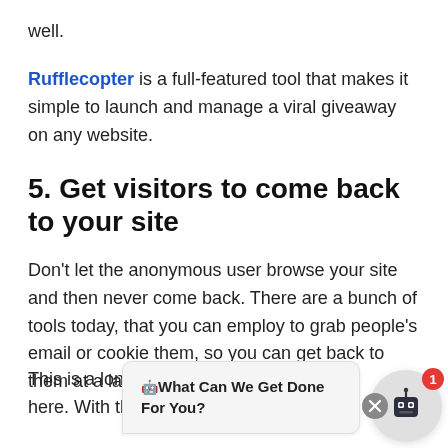well.
Rufflecopter is a full-featured tool that makes it simple to launch and manage a viral giveaway on any website.
5. Get visitors to come back to your site
Don't let the anonymous user browse your site and then never come back. There are a bunch of tools today, that you can employ to grab people's email or cookie them, so you can get back to them at a la
This is a long term game right here. With this